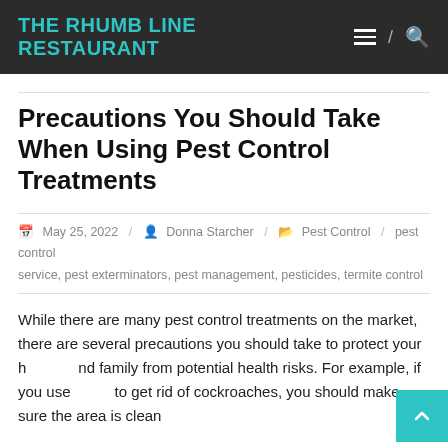THE RHUMB LINE RESTAURANT
Precautions You Should Take When Using Pest Control Treatments
May 25, 2022 / Donna Starcher / Pest Control / pest control service, pest exterminators, pest management, pesticides, termite control
While there are many pest control treatments on the market, there are several precautions you should take to protect your home and family from potential health risks. For example, if you use baits to get rid of cockroaches, you should make sure the area is clean